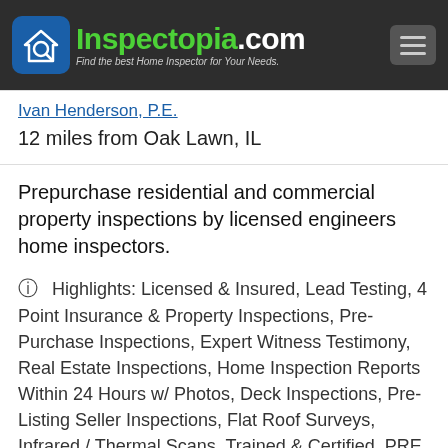Inspectopia.com - Find the best Home Inspector for Your Needs.
Ivan Henderson, P.E.
12 miles from Oak Lawn, IL
Prepurchase residential and commercial property inspections by licensed engineers home inspectors.
Highlights: Licensed & Insured, Lead Testing, 4 Point Insurance & Property Inspections, Pre-Purchase Inspections, Expert Witness Testimony, Real Estate Inspections, Home Inspection Reports Within 24 Hours w/ Photos, Deck Inspections, Pre-Listing Seller Inspections, Flat Roof Surveys, Infrared / Thermal Scans, Trained & Certified, PRE SALE INSPECTIONS FOR THE SELLER ARE AVILABLE SO YOU CAN SE, Interior Inspections, Town Home Inspections, Complete Home Inspection Services, Real Estate Pre-purchase Inspections...